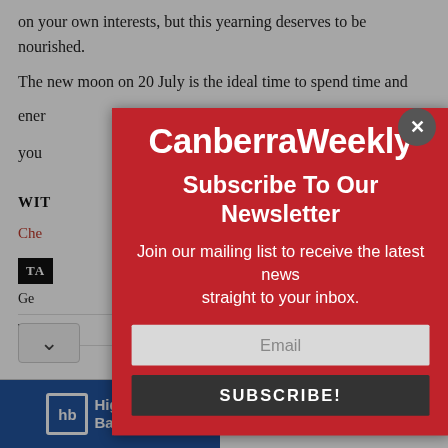on your own interests, but this yearning deserves to be nourished.
The new moon on 20 July is the ideal time to spend time and energy on your
WITH
Che
[Figure (screenshot): Canberra Weekly newsletter subscription modal overlay. Red background with white text: 'Canberra Weekly', 'Subscribe To Our Newsletter', 'Join our mailing list to receive the latest news straight to your inbox.' Email input field and SUBSCRIBE! button.]
[Figure (other): Advertisement banner for Highgrove Bathrooms with 'PRICE BLITZ 20-50% OFF' text on red background.]